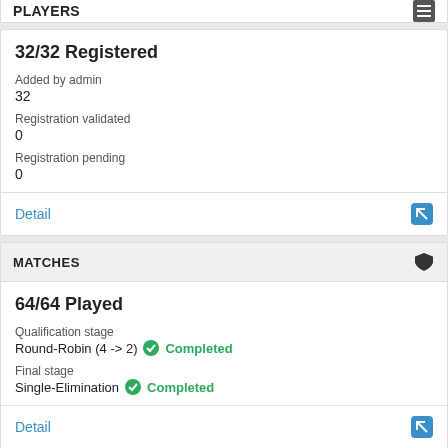PLAYERS
32/32 Registered
Added by admin
32
Registration validated
0
Registration pending
0
Detail
MATCHES
64/64 Played
Qualification stage
Round-Robin (4 -> 2) Completed
Final stage
Single-Elimination Completed
Detail